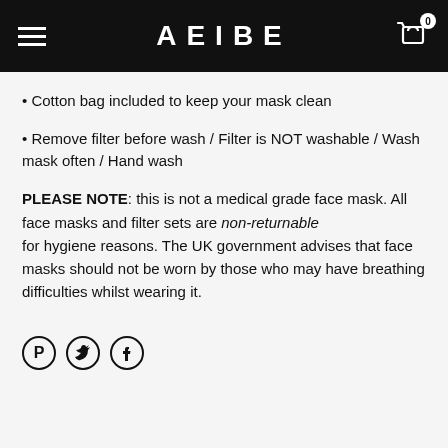AEIBE
Cotton bag included to keep your mask clean
Remove filter before wash / Filter is NOT washable / Wash mask often / Hand wash
PLEASE NOTE: this is not a medical grade face mask. All face masks and filter sets are non-returnable for hygiene reasons. The UK government advises that face masks should not be worn by those who may have breathing difficulties whilst wearing it.
[Figure (other): Social media icons: Pinterest, Twitter, Facebook]